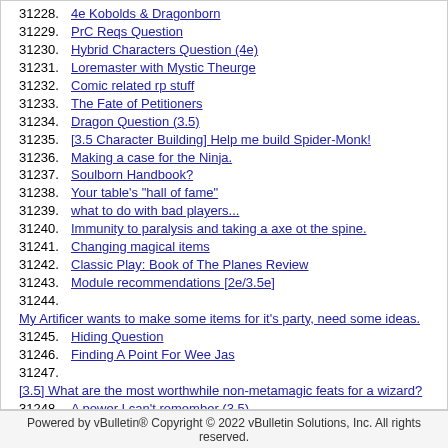31228. 4e Kobolds & Dragonborn
31229. PrC Reqs Question
31230. Hybrid Characters Question (4e)
31231. Loremaster with Mystic Theurge
31232. Comic related rp stuff
31233. The Fate of Petitioners
31234. Dragon Question (3.5)
31235. [3.5 Character Building] Help me build Spider-Monk!
31236. Making a case for the Ninja.
31237. Soulborn Handbook?
31238. Your table's "hall of fame"
31239. what to do with bad players...
31240. Immunity to paralysis and taking a axe ot the spine.
31241. Changing magical items
31242. Classic Play: Book of The Planes Review
31243. Module recommendations [2e/3.5e]
31244. My Artificer wants to make some items for it's party, need some ideas.
31245. Hiding Question
31246. Finding A Point For Wee Jas
31247. [3.5] What are the most worthwhile non-metamagic feats for a wizard?
31248. A power I can't remember (3.5)
31249. Dealing with my party.
31250. Is there a way to gain Turn undead through feats?
Powered by vBulletin® Copyright © 2022 vBulletin Solutions, Inc. All rights reserved.